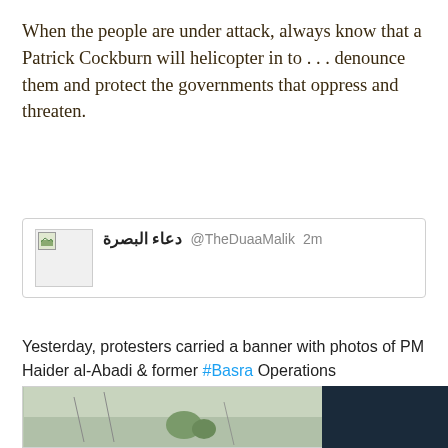When the people are under attack, always know that a Patrick Cockburn will helicopter in to . . . denounce them and protect the governments that oppress and threaten.
[Figure (screenshot): Tweet card from @TheDuaaMalik (دعاء البصرة) posted 2m ago, with a profile avatar placeholder image. Tweet text: Yesterday, protesters carried a banner with photos of PM Haider al-Abadi & former #Basra Operations Commander Jamil al-Shimmari, promising to legally pursue them for killing protesters. The banner also stated that Shimmari killed the young men who participated in #BasraProtests.]
[Figure (photo): Partial bottom image showing an outdoor scene with trees or landscape against a light sky, partially obscured. Right portion shows a dark navy/dark background.]